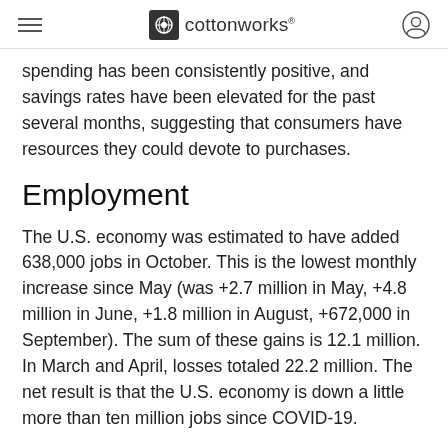cottonworks
spending has been consistently positive, and savings rates have been elevated for the past several months, suggesting that consumers have resources they could devote to purchases.
Employment
The U.S. economy was estimated to have added 638,000 jobs in October. This is the lowest monthly increase since May (was +2.7 million in May, +4.8 million in June, +1.8 million in August, +672,000 in September). The sum of these gains is 12.1 million. In March and April, losses totaled 22.2 million. The net result is that the U.S. economy is down a little more than ten million jobs since COVID-19.